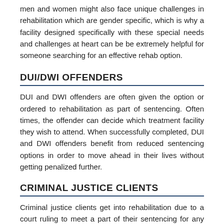men and women might also face unique challenges in rehabilitation which are gender specific, which is why a facility designed specifically with these special needs and challenges at heart can be be extremely helpful for someone searching for an effective rehab option.
DUI/DWI OFFENDERS
DUI and DWI offenders are often given the option or ordered to rehabilitation as part of sentencing. Often times, the offender can decide which treatment facility they wish to attend. When successfully completed, DUI and DWI offenders benefit from reduced sentencing options in order to move ahead in their lives without getting penalized further.
CRIMINAL JUSTICE CLIENTS
Criminal justice clients get into rehabilitation due to a court ruling to meet a part of their sentencing for any drug offense. Criminal justice clients in drug rehabilitation frequently receive reduced sentences, fines etc. when cooperating with alcohol